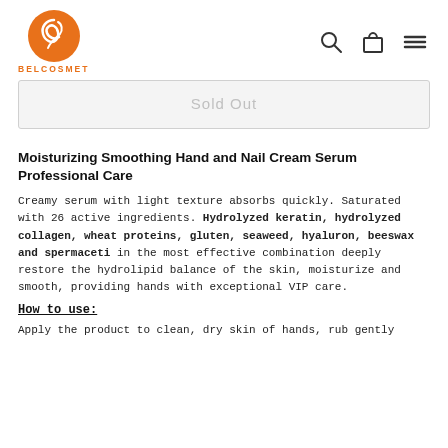BELCOSMET
Sold Out
Moisturizing Smoothing Hand and Nail Cream Serum Professional Care
Creamy serum with light texture absorbs quickly. Saturated with 26 active ingredients. Hydrolyzed keratin, hydrolyzed collagen, wheat proteins, gluten, seaweed, hyaluron, beeswax and spermaceti in the most effective combination deeply restore the hydrolipid balance of the skin, moisturize and smooth, providing hands with exceptional VIP care.
How to use:
Apply the product to clean, dry skin of hands, rub gently